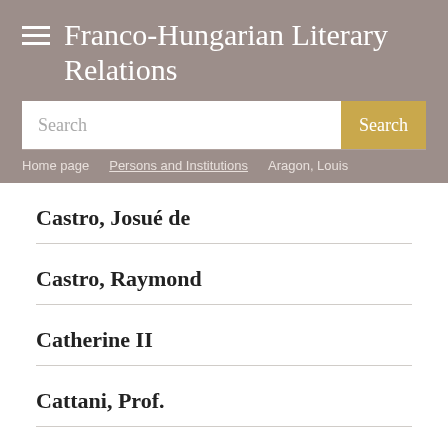Franco-Hungarian Literary Relations
Search | Home page | Persons and Institutions | Aragon, Louis
Castro, Josué de
Castro, Raymond
Catherine II
Cattani, Prof.